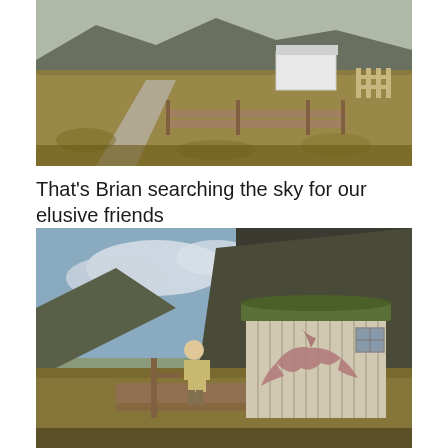[Figure (photo): Outdoor landscape photo showing a gravel path/road leading toward wooden structures and a small white building, with dry golden-brown moorland grass, mountains in the background, and a grey sky. Wooden boardwalk and fence posts visible.]
That’s Brian searching the sky for our elusive friends
[Figure (photo): Outdoor photo of a person standing on a wooden boardwalk/platform, looking up at the sky, next to a rustic wooden hut with a grass/turf roof and a painted eagle/bird mural on its side. A large dark mountain slope is visible behind, with a partly cloudy blue sky.]